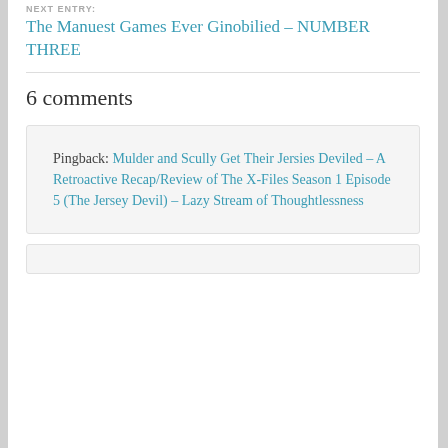NEXT ENTRY:
The Manuest Games Ever Ginobilied – NUMBER THREE
6 comments
Pingback: Mulder and Scully Get Their Jersies Deviled – A Retroactive Recap/Review of The X-Files Season 1 Episode 5 (The Jersey Devil) – Lazy Stream of Thoughtlessness